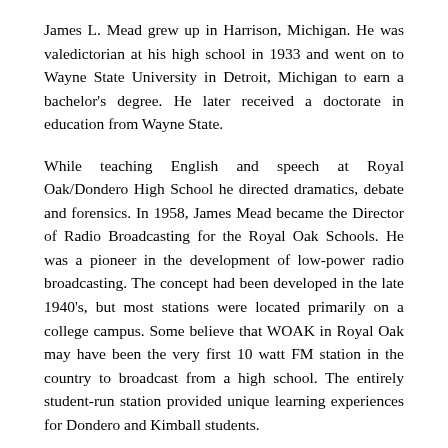James L. Mead grew up in Harrison, Michigan. He was valedictorian at his high school in 1933 and went on to Wayne State University in Detroit, Michigan to earn a bachelor's degree. He later received a doctorate in education from Wayne State.
While teaching English and speech at Royal Oak/Dondero High School he directed dramatics, debate and forensics. In 1958, James Mead became the Director of Radio Broadcasting for the Royal Oak Schools. He was a pioneer in the development of low-power radio broadcasting. The concept had been developed in the late 1940's, but most stations were located primarily on a college campus. Some believe that WOAK in Royal Oak may have been the very first 10 watt FM station in the country to broadcast from a high school. The entirely student-run station provided unique learning experiences for Dondero and Kimball students.
Dr. Mead published his doctoral thesis on low-power